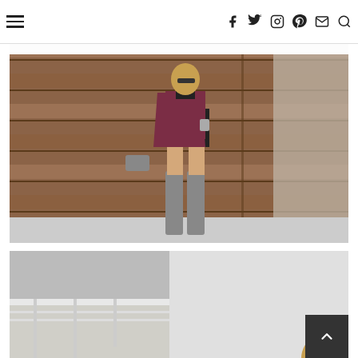Navigation bar with hamburger menu and social icons (Facebook, Twitter, Instagram, Pinterest, Email, Search)
"I have no emotion. It's a blank in my mind."
– Chris Harrington
[Figure (photo): Fashion photo: woman wearing a burgundy bomber jacket over a black mini dress, grey over-the-knee boots, and sunglasses, standing in front of a wood-paneled wall]
[Figure (photo): Partial fashion photo: close-up shot of woman with sunglasses, showing top of head and face, outdoors near white railing]